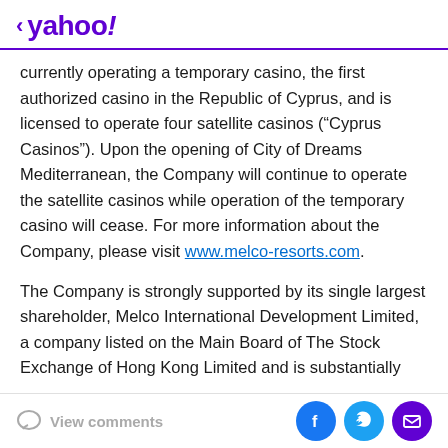< yahoo!
currently operating a temporary casino, the first authorized casino in the Republic of Cyprus, and is licensed to operate four satellite casinos (“Cyprus Casinos”). Upon the opening of City of Dreams Mediterranean, the Company will continue to operate the satellite casinos while operation of the temporary casino will cease. For more information about the Company, please visit www.melco-resorts.com.
The Company is strongly supported by its single largest shareholder, Melco International Development Limited, a company listed on the Main Board of The Stock Exchange of Hong Kong Limited and is substantially
View comments